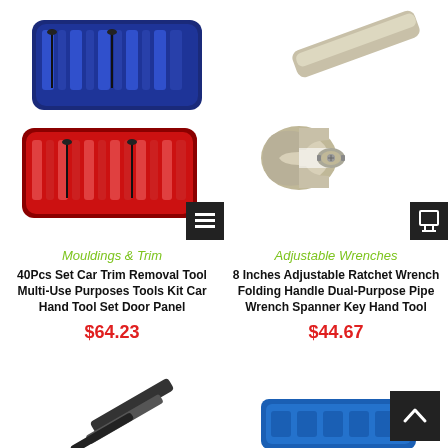[Figure (photo): Blue and red car trim removal tool kit sets in cases]
[Figure (photo): Silver adjustable ratchet wrench with folding handle]
Mouldings & Trim
40Pcs Set Car Trim Removal Tool Multi-Use Purposes Tools Kit Car Hand Tool Set Door Panel
$64.23
Adjustable Wrenches
8 Inches Adjustable Ratchet Wrench Folding Handle Dual-Purpose Pipe Wrench Spanner Key Hand Tool
$44.67
[Figure (photo): Partial bottom product image - tool on left]
[Figure (photo): Partial bottom product image - blue item on right]